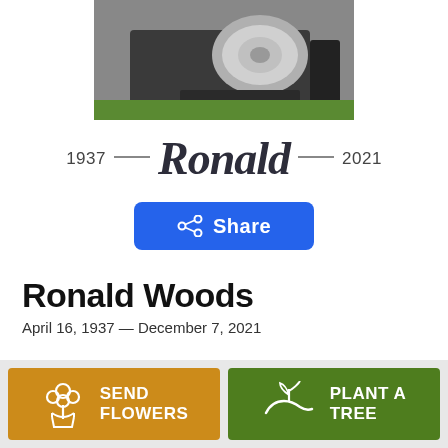[Figure (photo): Partial photo of Ronald Woods, cropped at the top of the page, showing a person with metallic/chrome accessories outdoors on grass]
1937 — Ronald — 2021
[Figure (other): Blue Share button with share icon]
Ronald Woods
April 16, 1937 — December 7, 2021
[Figure (other): Orange 'Send Flowers' button with flower bouquet icon and green 'Plant a Tree' button with seedling icon, side by side in a gray bottom bar]